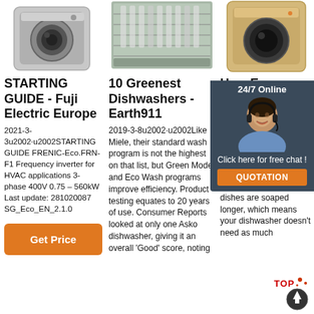[Figure (photo): Washing machine product image, front-loader, silver/chrome]
[Figure (photo): Dishwasher interior with dishes, viewed from above]
[Figure (photo): Washing machine product image, front-loader, gold/champagne color]
STARTING GUIDE - Fuji Electric Europe
2021-3-3u2002·u2002STARTING GUIDE FRENIC-Eco.FRN-F1 Frequency inverter for HVAC applications 3-phase 400V 0.75 – 560kW Last update: 281020087 SG_Eco_EN_2.1.0
[Figure (other): Get Price orange button]
10 Greenest Dishwashers - Earth911
2019-3-8u2002·u2002Like Miele, their standard wash program is not the highest on that list, but Green Mode and Eco Wash programs improve efficiency. Product testing equates to 20 years of use. Consumer Reports looked at only one Asko dishwasher, giving it an overall 'Good' score, noting
How Eco Saves
How can like the E save ene it takes lo surprisin with the wash-cyc water doesn't need heating up as much when compared to shorter programs. Plus, your dishes are soaped longer, which means your dishwasher doesn't need as much
[Figure (other): 24/7 Online chat overlay with agent photo, Click here for free chat!, QUOTATION button]